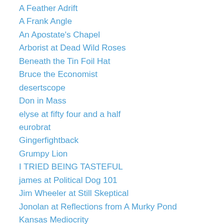A Feather Adrift
A Frank Angle
An Apostate's Chapel
Arborist at Dead Wild Roses
Beneath the Tin Foil Hat
Bruce the Economist
desertscope
Don in Mass
elyse at fifty four and a half
eurobrat
Gingerfightback
Grumpy Lion
I TRIED BEING TASTEFUL
james at Political Dog 101
Jim Wheeler at Still Skeptical
Jonolan at Reflections from A Murky Pond
Kansas Mediocrity
Katrina at SStorm073's Blog
Mary Lee's breath of fresh air
Out of Central Asia Now